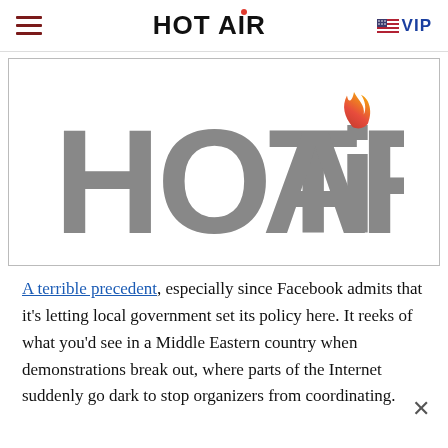HOT AIR  ≡VIP
[Figure (logo): Large HOT AIR logo in gray with a flame icon replacing the 'i' dot in 'Air', displayed prominently in the center of a white box with border]
A terrible precedent, especially since Facebook admits that it's letting local government set its policy here. It reeks of what you'd see in a Middle Eastern country when demonstrations break out, where parts of the Internet suddenly go dark to stop organizers from coordinating.